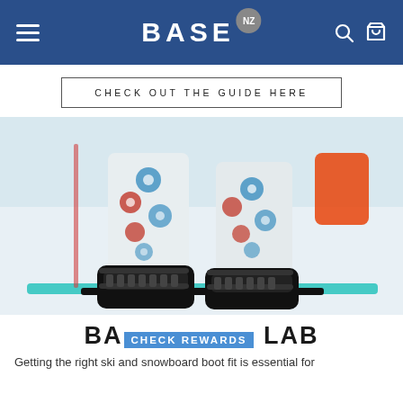BASE NZ — navigation header with menu, logo, search and cart icons
CHECK OUT THE GUIDE HERE
[Figure (photo): Close-up photo of a person's legs wearing white floral-patterned snowboard pants and black snowboard boots/bindings, standing on a snowboard on snow.]
BASE NZ BOOT LAB
CHECK REWARDS
Getting the right ski and snowboard boot fit is essential for